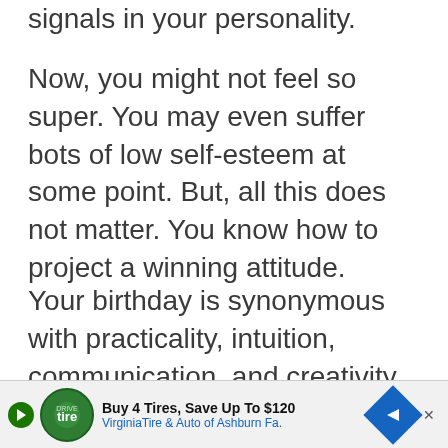signals in your personality.
Now, you might not feel so super. You may even suffer bots of low self-esteem at some point. But, all this does not matter. You know how to project a winning attitude.
Your birthday is synonymous with practicality, intuition, communication, and creativity. Put these to good use. They are your ste…
[Figure (other): Advertisement banner: Buy 4 Tires, Save Up To $120 — Virginia Tire & Auto of Ashburn Fa.]